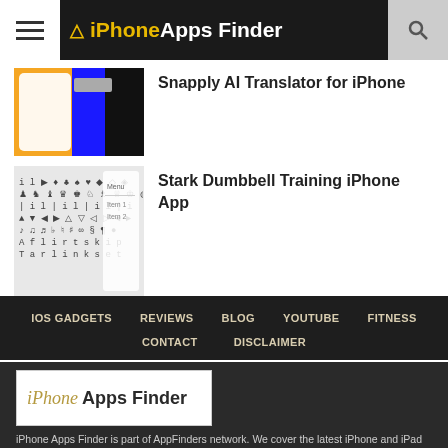iPhone Apps Finder
Snapply AI Translator for iPhone
Stark Dumbbell Training iPhone App
IOS GADGETS  REVIEWS  BLOG  YOUTUBE  FITNESS  CONTACT  DISCLAIMER
[Figure (logo): iPhone Apps Finder logo on dark background]
iPhone Apps Finder is part of AppFinders network. We cover the latest iPhone and iPad applications. Don't forget to check our sister website for our iPad